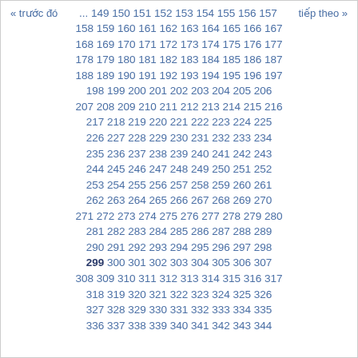« trước đó    ... 149 150 151 152 153 154 155 156 157    tiếp theo »
158 159 160 161 162 163 164 165 166 167 168 169 170 171 172 173 174 175 176 177 178 179 180 181 182 183 184 185 186 187 188 189 190 191 192 193 194 195 196 197 198 199 200 201 202 203 204 205 206 207 208 209 210 211 212 213 214 215 216 217 218 219 220 221 222 223 224 225 226 227 228 229 230 231 232 233 234 235 236 237 238 239 240 241 242 243 244 245 246 247 248 249 250 251 252 253 254 255 256 257 258 259 260 261 262 263 264 265 266 267 268 269 270 271 272 273 274 275 276 277 278 279 280 281 282 283 284 285 286 287 288 289 290 291 292 293 294 295 296 297 298 299 300 301 302 303 304 305 306 307 308 309 310 311 312 313 314 315 316 317 318 319 320 321 322 323 324 325 326 327 328 329 330 331 332 333 334 335 336 337 338 339 340 341 342 343 344